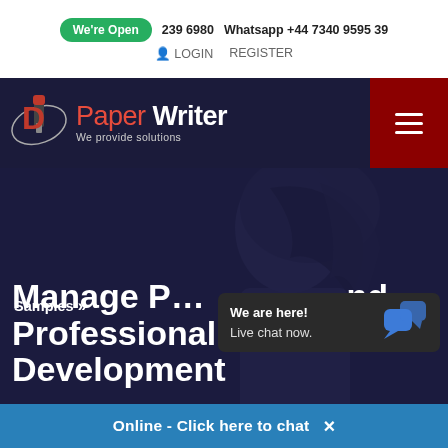We're Open  239 6980  Whatsapp +44 7340 9595 39  LOGIN  REGISTER
[Figure (logo): Paper Writer logo with pen icon, 'Paper' in red and 'Writer' in white bold, tagline 'We provide solutions']
Samples » Manage P... and Professional Development
[Figure (screenshot): Live chat popup overlay: 'We are here! Live chat now.' with blue speech bubble icon, and blue bar 'Online - Click here to chat' with X close button]